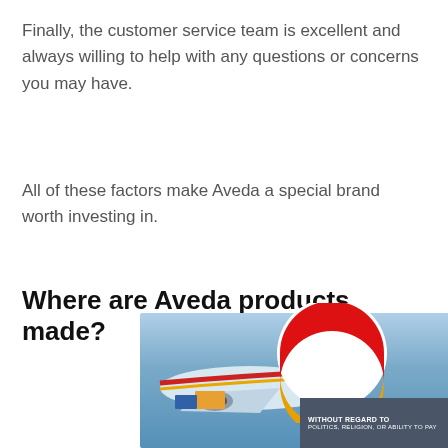Finally, the customer service team is excellent and always willing to help with any questions or concerns you may have.
All of these factors make Aveda a special brand worth investing in.
Where are Aveda products made?
[Figure (photo): Advertisement banner showing a cargo airplane being loaded, with a red and gold circular airline logo overlaid, and a dark grey overlay reading 'WITHOUT REGARD TO POLITICS, RELIGION, OR ABILITY TO PAY']